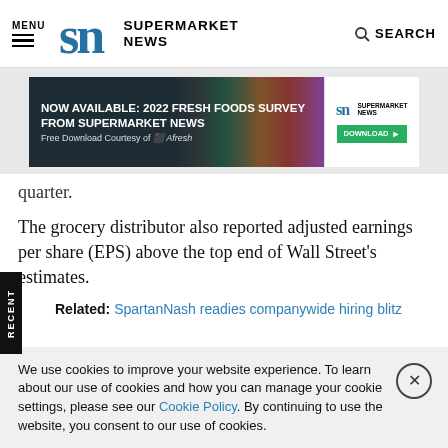MENU | SN SUPERMARKET NEWS | SEARCH
[Figure (screenshot): Advertisement banner: NOW AVAILABLE: 2022 FRESH FOODS SURVEY FROM SUPERMARKET NEWS — Free Download Courtesy of Afresh. Shows SN logo and green DOWNLOAD button with vegetables background.]
quarter.
The grocery distributor also reported adjusted earnings per share (EPS) above the top end of Wall Street's estimates.
Related: SpartanNash readies companywide hiring blitz
We use cookies to improve your website experience. To learn about our use of cookies and how you can manage your cookie settings, please see our Cookie Policy. By continuing to use the website, you consent to our use of cookies.